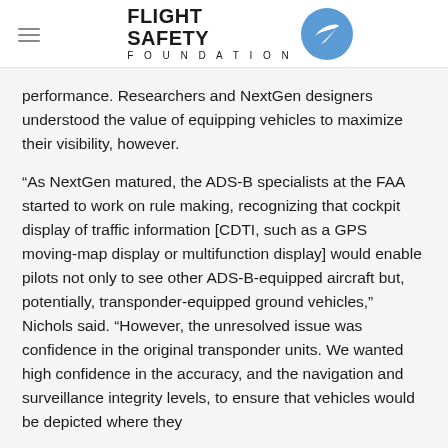FLIGHT SAFETY FOUNDATION
performance. Researchers and NextGen designers understood the value of equipping vehicles to maximize their visibility, however.
“As NextGen matured, the ADS-B specialists at the FAA started to work on rule making, recognizing that cockpit display of traffic information [CDTI, such as a GPS moving-map display or multifunction display] would enable pilots not only to see other ADS-B-equipped aircraft but, potentially, transponder-equipped ground vehicles,” Nichols said. “However, the unresolved issue was confidence in the original transponder units. We wanted high confidence in the accuracy, and the navigation and surveillance integrity levels, to ensure that vehicles would be depicted where they